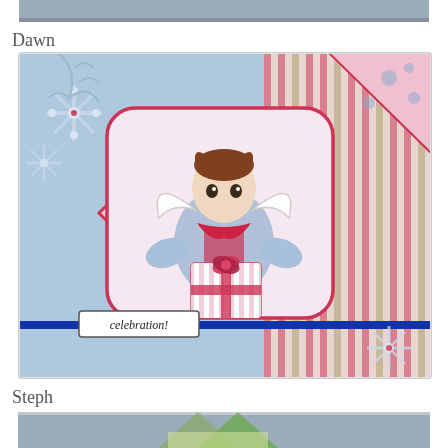[Figure (photo): Partial view of a craft card or image at the top of the page, cropped]
Dawn
[Figure (photo): Handmade greeting card featuring an angel character holding a gift, with snowflake decorations, patterned paper background in blue, pink and stripes, and a 'celebration!' sentiment tag with a blue ribbon]
Steph
[Figure (photo): Partial view of another craft card at the bottom of the page, cropped]